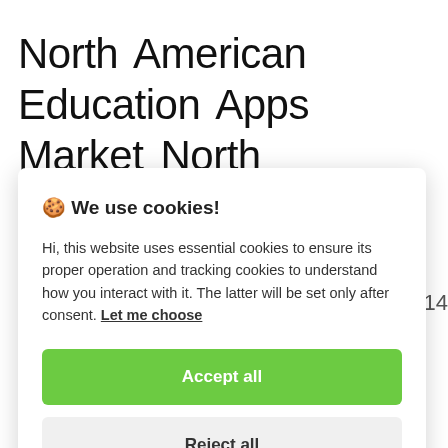North American Education Apps Market North American Education Apps Market Tags Attendance Management Digital
🍪 We use cookies!

Hi, this website uses essential cookies to ensure its proper operation and tracking cookies to understand how you interact with it. The latter will be set only after consent. Let me choose
Accept all
Reject all